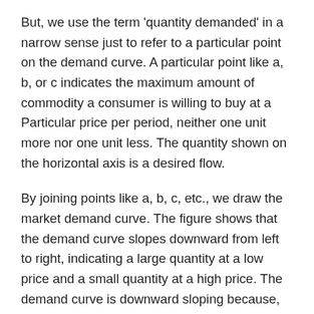But, we use the term 'quantity demanded' in a narrow sense just to refer to a particular point on the demand curve. A particular point like a, b, or c indicates the maximum amount of commodity a consumer is willing to buy at a Particular price per period, neither one unit more nor one unit less. The quantity shown on the horizontal axis is a desired flow.
By joining points like a, b, c, etc., we draw the market demand curve. The figure shows that the demand curve slopes downward from left to right, indicating a large quantity at a low price and a small quantity at a high price. The demand curve is downward sloping because, as per the law of demand price change and quantity change are in the opposite direction. In other words, due to the operation of the law of demand a typical demand curve has a negative slope.